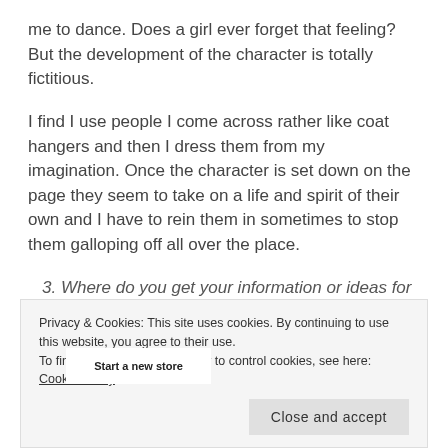me to dance. Does a girl ever forget that feeling? But the development of the character is totally fictitious.
I find I use people I come across rather like coat hangers and then I dress them from my imagination. Once the character is set down on the page they seem to take on a life and spirit of their own and I have to rein them in sometimes to stop them galloping off all over the place.
3. Where do you get your information or ideas for your books?
[Figure (screenshot): Advertisement banner with dark purple background, a white button labeled 'Start a new store', and a cyan/turquoise curved shape on the right side.]
Privacy & Cookies: This site uses cookies. By continuing to use this website, you agree to their use.
To find out more, including how to control cookies, see here: Cookie Policy
Close and accept